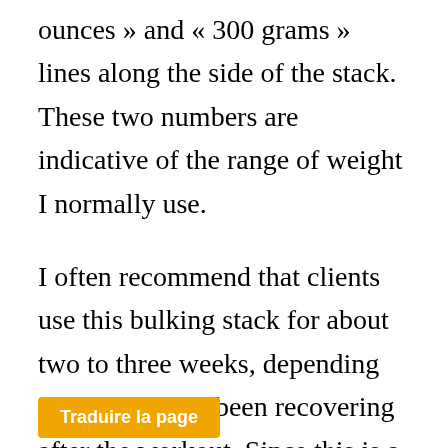ounces » and « 300 grams » lines along the side of the stack. These two numbers are indicative of the range of weight I normally use.
I often recommend that clients use this bulking stack for about two to three weeks, depending on how they've been recovering after the workout. Since this is a beginner stack, I just suggest that you start slowly in order to get a feel for whether this
Traduire la page